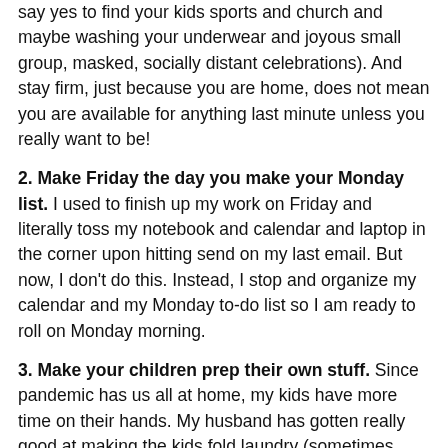say yes to find your kids sports and church and maybe washing your underwear and joyous small group, masked, socially distant celebrations). And stay firm, just because you are home, does not mean you are available for anything last minute unless you really want to be!
2. Make Friday the day you make your Monday list. I used to finish up my work on Friday and literally toss my notebook and calendar and laptop in the corner upon hitting send on my last email. But now, I don't do this. Instead, I stop and organize my calendar and my Monday to-do list so I am ready to roll on Monday morning.
3. Make your children prep their own stuff. Since pandemic has us all at home, my kids have more time on their hands. My husband has gotten really good at making the kids fold laundry (sometimes they do this), empty the dishwasher (I mean we have to remind them 17 times) and being in charge of laying out clothes, charging iPads and backing up their school stuff. They are older--but even the second grader is capable of doing most of this.
4. Do some stuff, of course! I think by not scheduling